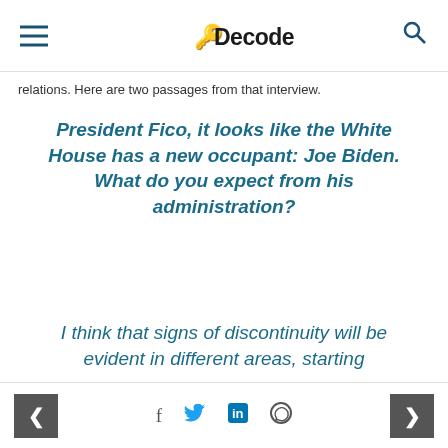Decode 39
relations. Here are two passages from that interview.
President Fico, it looks like the White House has a new occupant: Joe Biden. What do you expect from his administration?
I think that signs of discontinuity will be evident in different areas, starting
< f t in WhatsApp >